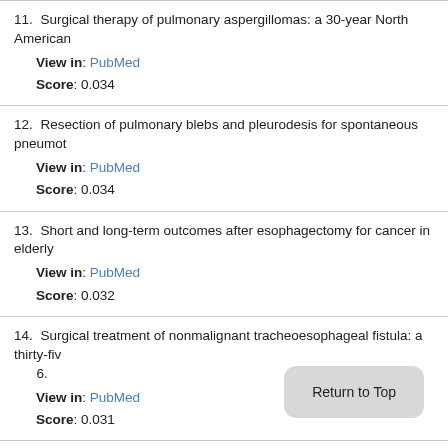11. Surgical therapy of pulmonary aspergillomas: a 30-year North American
View in: PubMed
Score: 0.034
12. Resection of pulmonary blebs and pleurodesis for spontaneous pneumot
View in: PubMed
Score: 0.034
13. Short and long-term outcomes after esophagectomy for cancer in elderly
View in: PubMed
Score: 0.032
14. Surgical treatment of nonmalignant tracheoesophageal fistula: a thirty-fiv 6.
View in: PubMed
Score: 0.031
15. Pulmonary resection of metastatic sarcoma: prognostic factors associate 92(5):1780-6; discussion 1786-7.
View in: PubMed
Score: 0.030